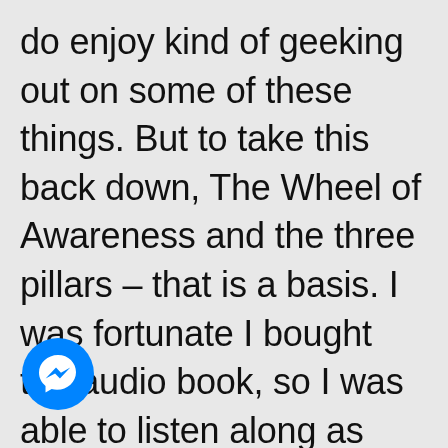do enjoy kind of geeking out on some of these things. But to take this back down, The Wheel of Awareness and the three pillars – that is a basis. I was fortunate I bought the audio book, so I was able to listen along as you talked us through the practice. I know you have some of that on your website as well. If
[Figure (logo): Facebook Messenger logo — blue circle with white lightning bolt speech bubble icon]